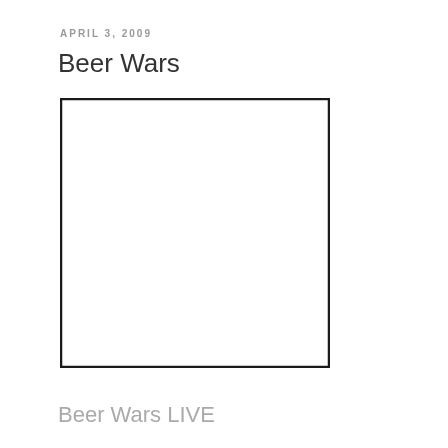APRIL 3, 2009
Beer Wars
[Figure (other): Empty white rectangle with black border, placeholder image area]
Beer Wars LIVE